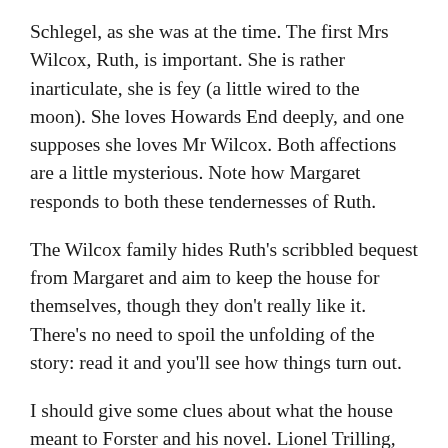Schlegel, as she was at the time. The first Mrs Wilcox, Ruth, is important. She is rather inarticulate, she is fey (a little wired to the moon). She loves Howards End deeply, and one supposes she loves Mr Wilcox. Both affections are a little mysterious. Note how Margaret responds to both these tendernesses of Ruth.
The Wilcox family hides Ruth's scribbled bequest from Margaret and aim to keep the house for themselves, though they don't really like it. There's no need to spoil the unfolding of the story: read it and you'll see how things turn out.
I should give some clues about what the house meant to Forster and his novel. Lionel Trilling, an America critic, famously wrote that the novel is about who will inherit England. That is, Howards End represents the kind of England Forster loves and his novel explores